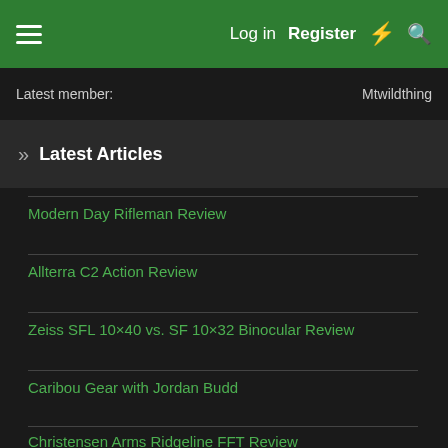Log in  Register
Latest member: Mtwildthing
» Latest Articles
Modern Day Rifleman Review
Allterra C2 Action Review
Zeiss SFL 10×40 vs. SF 10×32 Binocular Review
Zeiss Conquest V4 4-16×44 Review
Caribou Gear with Jordan Budd
Christensen Arms Ridgeline FFT Review